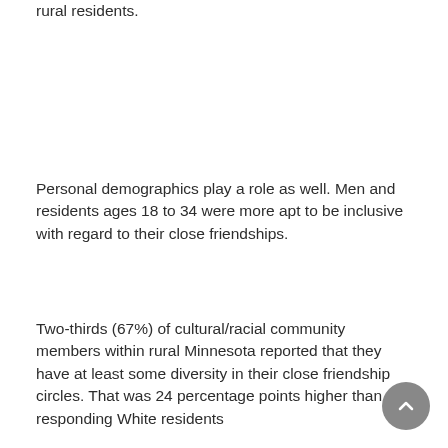rural residents.
Personal demographics play a role as well. Men and residents ages 18 to 34 were more apt to be inclusive with regard to their close friendships.
Two-thirds (67%) of cultural/racial community members within rural Minnesota reported that they have at least some diversity in their close friendship circles. That was 24 percentage points higher than responding White residents